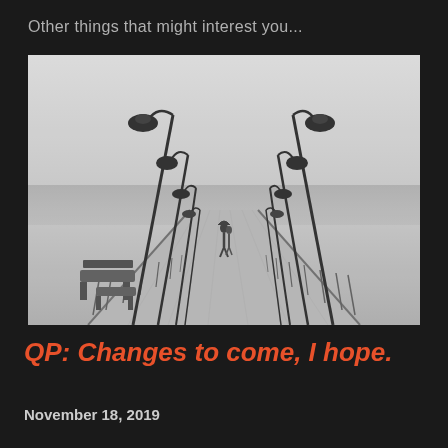Other things that might interest you...
[Figure (photo): Black and white photograph of a long seaside pier or boardwalk receding into the misty distance. Rows of street lamps line both sides of the wooden deck. Park benches are visible on the left. Two figures walking with an umbrella can be seen in the middle distance.]
QP: Changes to come, I hope.
November 18, 2019